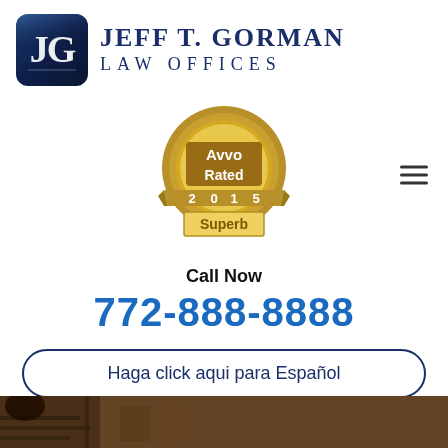[Figure (logo): Jeff T. Gorman Law Offices logo with stylized JG monogram on dark blue rounded square background, beside firm name text]
[Figure (other): Avvo Rated 2015 Superb gold medallion badge]
Call Now
772-888-8888
Haga click aqui para Español
[Figure (photo): Partial photo of a law office interior at the bottom of the page]